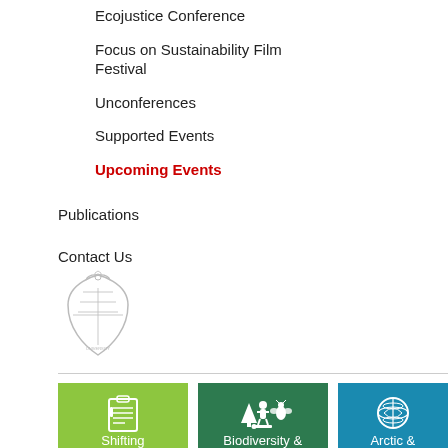Ecojustice Conference
Focus on Sustainability Film Festival
Unconferences
Supported Events
Upcoming Events
Publications
Contact Us
[Figure (logo): University crest/shield logo in light gray outline style]
[Figure (infographic): Three colored category cards at bottom: green card with clipboard icon and 'Shifting', dark green card with tree/person/insect icons and 'Biodiversity &', blue card with globe icon and 'Arctic &']